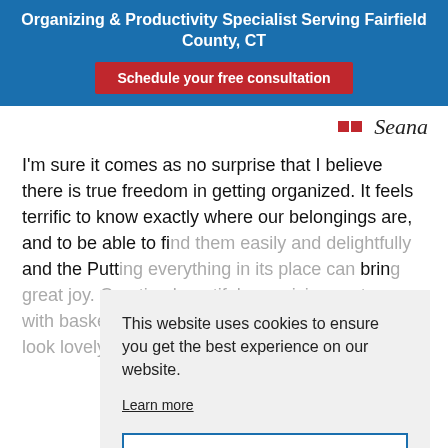Organizing & Productivity Specialist Serving Fairfield County, CT
Schedule your free consultation
[Figure (logo): Seana logo with two red squares and italic script text]
I'm sure it comes as no surprise that I believe there is true freedom in getting organized. It feels terrific to know exactly where our belongings are, and to be able to fi... Putt... brin... orga... bins... whic...
This website uses cookies to ensure you get the best experience on our website. Learn more Got it
If you want your space to function well, remember to